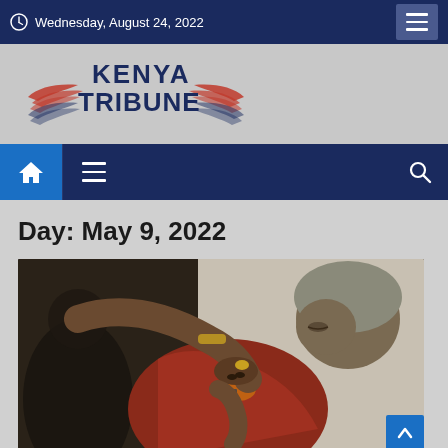Wednesday, August 24, 2022
[Figure (logo): Kenya Tribune newspaper logo with wings and flag-striped decoration]
[Figure (screenshot): Navigation bar with home icon, hamburger menu, and search icon on dark blue background]
Day: May 9, 2022
[Figure (photo): A healthcare worker administering a vaccine injection to a baby being held by a caregiver wearing colorful clothing and a gray head covering]